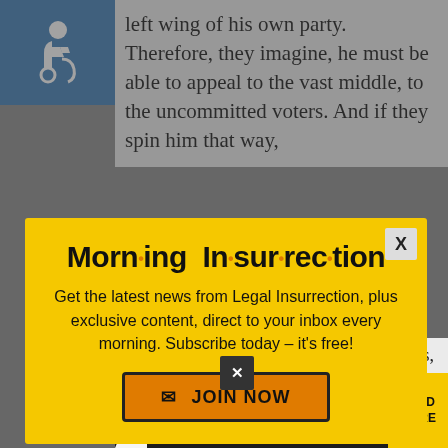[Figure (logo): Accessibility icon - white wheelchair symbol on blue background]
left wing of his own party. Therefore, they imagine, he must be able to appeal to the vast middle, to the uncommitted voters. And if they spin him that way,
[Figure (infographic): Morning Insurrection newsletter popup modal with yellow background, close X button, title 'Morn·ing In·sur·rec·tion', subscription text and JOIN NOW button]
He gets along with downstate Republicans, known in the rest of
[Figure (infographic): THE PERSPECTIVE / EVITA advertisement banner: 'SEE WHAT YOU'RE MISSING' with READ MORE button on yellow background]